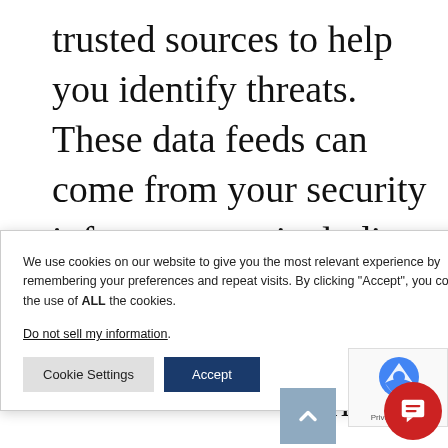trusted sources to help you identify threats. These data feeds can come from your security infrastructure, including firewalls, intrusion detection and [and] [rmatio] [and] [ions.] [publi
We use cookies on our website to give you the most relevant experience by remembering your preferences and repeat visits. By clicking "Accept", you consent to the use of ALL the cookies.
Do not sell my information.
[Cookie Settings] [Accept]